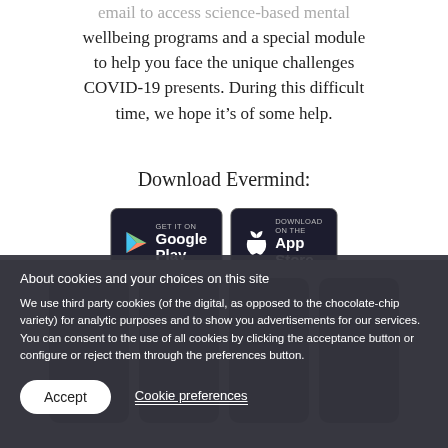email to access science-based mental wellbeing programs and a special module to help you face the unique challenges COVID-19 presents. During this difficult time, we hope it's of some help.
Download Evermind:
[Figure (screenshot): Google Play and Apple App Store download buttons shown side by side]
About cookies and your choices on this site
We use third party cookies (of the digital, as opposed to the chocolate-chip variety) for analytic purposes and to show you advertisements for our services. You can consent to the use of all cookies by clicking the acceptance button or configure or reject them through the preferences button.
Accept
Cookie preferences